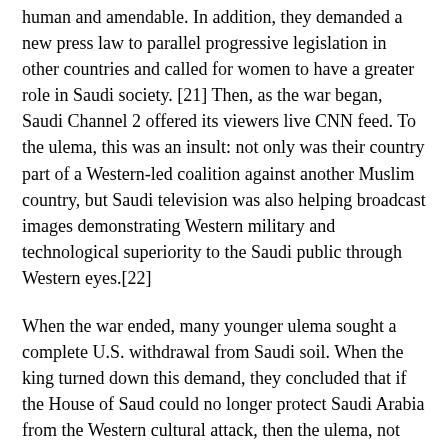human and amendable. In addition, they demanded a new press law to parallel progressive legislation in other countries and called for women to have a greater role in Saudi society. [21] Then, as the war began, Saudi Channel 2 offered its viewers live CNN feed. To the ulema, this was an insult: not only was their country part of a Western-led coalition against another Muslim country, but Saudi television was also helping broadcast images demonstrating Western military and technological superiority to the Saudi public through Western eyes.[22]
When the war ended, many younger ulema sought a complete U.S. withdrawal from Saudi soil. When the king turned down this demand, they concluded that if the House of Saud could no longer protect Saudi Arabia from the Western cultural attack, then the ulema, not the House of Saud, should run the country.
In March 1991, a group of ulema secretly drafted a "letter of demands" (khitab al-matalib) to demand the establishment of an independent consultative (shura) council to consist of ulema that would rule in all internal and external matters